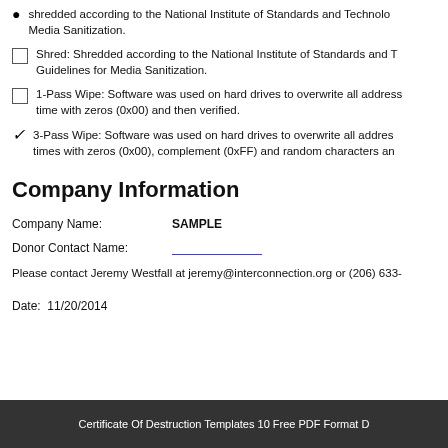shredded according to the National Institute of Standards and Technology Media Sanitization.
Shred: Shredded according to the National Institute of Standards and Technology Guidelines for Media Sanitization.
1-Pass Wipe: Software was used on hard drives to overwrite all addresses one time with zeros (0x00) and then verified.
3-Pass Wipe: Software was used on hard drives to overwrite all addresses three times with zeros (0x00), complement (0xFF) and random characters and
Company Information
Company Name:   SAMPLE
Donor Contact Name:
Please contact Jeremy Westfall at jeremy@interconnection.org or (206) 633-
Date:  11/20/2014
Certificate Of Destruction Templates 10 Free PDF Format D